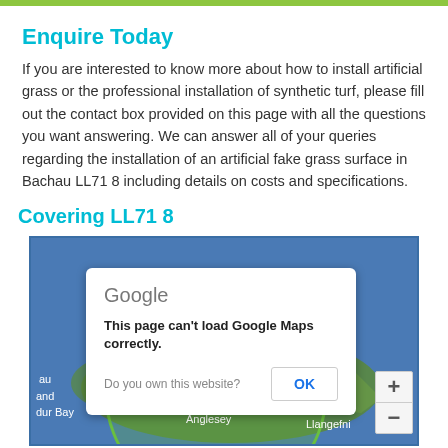Enquire Today
If you are interested to know more about how to install artificial grass or the professional installation of synthetic turf, please fill out the contact box provided on this page with all the questions you want answering. We can answer all of your queries regarding the installation of an artificial fake grass surface in Bachau LL71 8 including details on costs and specifications.
Covering LL71 8
[Figure (screenshot): Google Maps embed showing Anglesey area with a green circle overlay and an error dialog: 'This page can't load Google Maps correctly.' with OK button and 'Do you own this website?' text. Map shows Anglesey, Llangefni labels and zoom controls.]